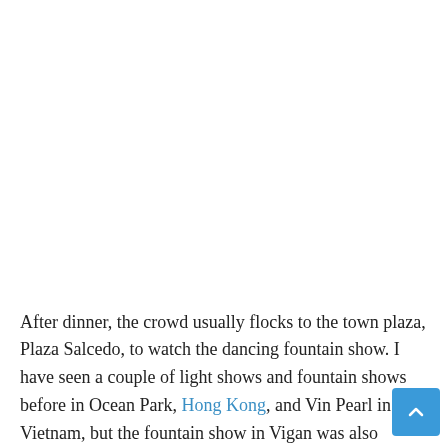After dinner, the crowd usually flocks to the town plaza, Plaza Salcedo, to watch the dancing fountain show. I have seen a couple of light shows and fountain shows before in Ocean Park, Hong Kong, and Vin Pearl in Vietnam, but the fountain show in Vigan was also